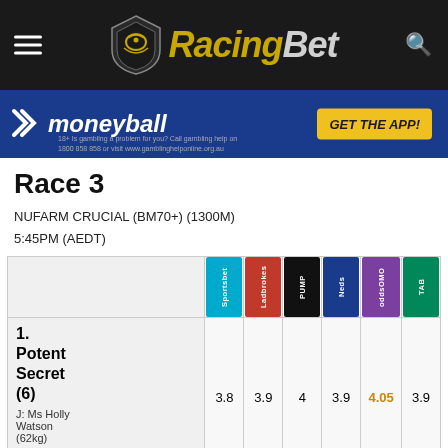RacingBet
[Figure (screenshot): Moneyball advertisement banner with GET THE APP! button]
Race 3
NUFARM CRUCIAL (BM70+) (1300M)
5:45PM (AEDT)
|  | Sportsbet | Ladbrokes | PUMP | Neds | oddsOMO | TAB |
| --- | --- | --- | --- | --- | --- | --- |
| 1. Potent Secret (6)
J: Ms Holly Watson (62kg)
T: Roy Rogers | 3.8 | 3.9 | 4 | 3.9 | 4.05 | 3.9 |
| Sir ... | 3.4 | 3.5 | 3.7 | 3.4 | 3.4 | 3.6 |